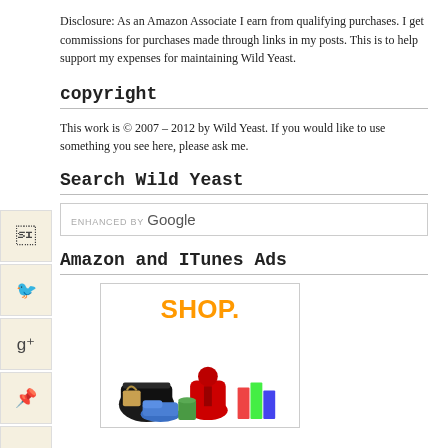Disclosure: As an Amazon Associate I earn from qualifying purchases. I get commissions for purchases made through links in my posts. This is to help support my expenses for maintaining Wild Yeast.
copyright
This work is © 2007 – 2012 by Wild Yeast. If you would like to use something you see here, please ask me.
Search Wild Yeast
ENHANCED BY Google
Amazon and ITunes Ads
[Figure (illustration): Amazon shop advertisement showing 'SHOP.' text in orange and various product images including electronics, kitchenware, shoes, and books]